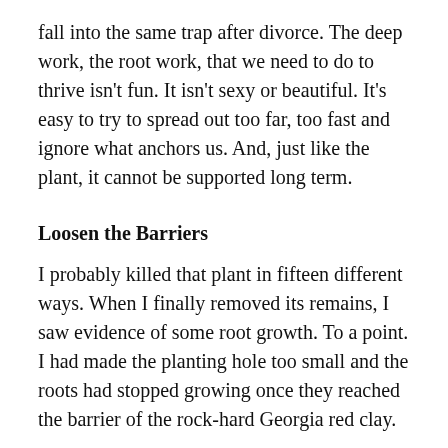fall into the same trap after divorce. The deep work, the root work, that we need to do to thrive isn't fun. It isn't sexy or beautiful. It's easy to try to spread out too far, too fast and ignore what anchors us. And, just like the plant, it cannot be supported long term.
Loosen the Barriers
I probably killed that plant in fifteen different ways. When I finally removed its remains, I saw evidence of some root growth. To a point. I had made the planting hole too small and the roots had stopped growing once they reached the barrier of the rock-hard Georgia red clay.